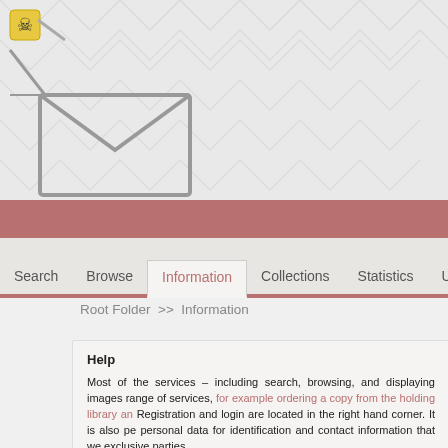[Figure (logo): Document management system logo with envelope/folder icon and yellow warning icon in top-left corner, on a watermark patterned background]
Search   Browse   Information   Collections   Statistics   U
Root Folder >> Information
Help
Most of the services – including search, browsing, and displaying images range of services, for example ordering a copy from the holding library an Registration and login are located in the right hand corner. It is also pe personal data for identification and contact information that we exclusive parties.
Search
The images can be searched by different indexes. After choosing the des left hand side and you can type in the query into the search box on the ri lists.)
If you would like to set further options you have to click on the >Extend button you can make surplus fields disappear. After typing in the queries s